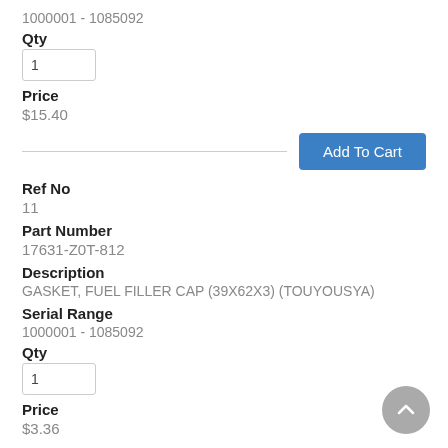1000001 - 1085092
Qty
1
Price
$15.40
Add To Cart
Ref No
11
Part Number
17631-Z0T-812
Description
GASKET, FUEL FILLER CAP (39X62X3) (TOUYOUSYA)
Serial Range
1000001 - 1085092
Qty
1
Price
$3.36